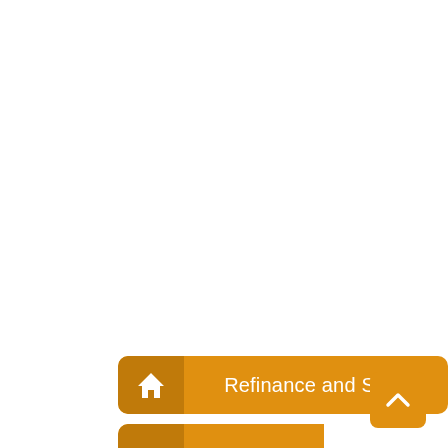[Figure (infographic): Orange button with home icon and label 'Refinance and Save']
[Figure (infographic): Orange square scroll-to-top button with upward chevron arrow]
[Figure (infographic): Partially visible orange button at bottom of page, cut off]